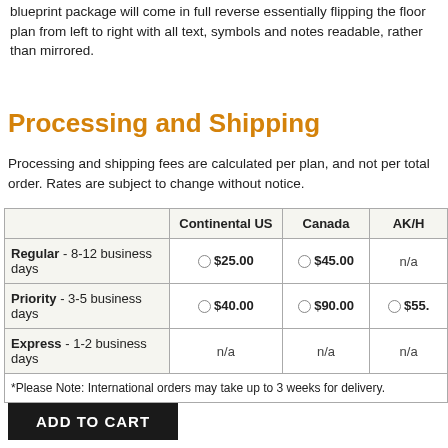blueprint package will come in full reverse essentially flipping the floor plan from left to right with all text, symbols and notes readable, rather than mirrored.
Processing and Shipping
Processing and shipping fees are calculated per plan, and not per total order. Rates are subject to change without notice.
|  | Continental US | Canada | AK/H |
| --- | --- | --- | --- |
| Regular - 8-12 business days | ○ $25.00 | ○ $45.00 | n/a |
| Priority - 3-5 business days | ○ $40.00 | ○ $90.00 | ○ $55. |
| Express - 1-2 business days | n/a | n/a | n/a |
| *Please Note: International orders may take up to 3 weeks for delivery. |  |  |  |
ADD TO CART